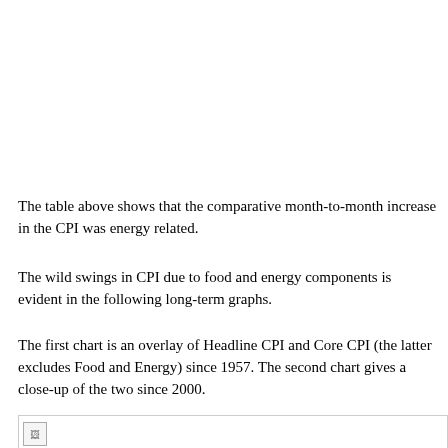The table above shows that the comparative month-to-month increase in the CPI was energy related.
The wild swings in CPI due to food and energy components is evident in the following long-term graphs.
The first chart is an overlay of Headline CPI and Core CPI (the latter excludes Food and Energy) since 1957. The second chart gives a close-up of the two since 2000.
[Figure (other): Broken image placeholder at the bottom of the page, representing a chart that failed to load.]